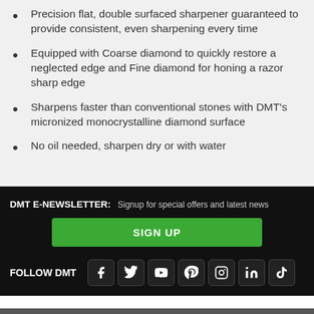Precision flat, double surfaced sharpener guaranteed to provide consistent, even sharpening every time
Equipped with Coarse diamond to quickly restore a neglected edge and Fine diamond for honing a razor sharp edge
Sharpens faster than conventional stones with DMT's micronized monocrystalline diamond surface
No oil needed, sharpen dry or with water
DMT E-NEWSLETTER: Signup for special offers and latest news
SIGN UP
FOLLOW DMT